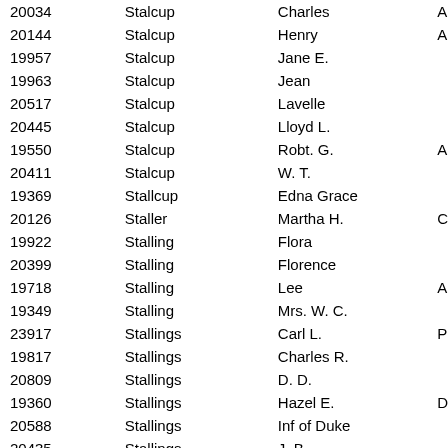| ID | Last Name | First Name |  |
| --- | --- | --- | --- |
| 20034 | Stalcup | Charles | A |
| 20144 | Stalcup | Henry | A |
| 19957 | Stalcup | Jane E. |  |
| 19963 | Stalcup | Jean |  |
| 20517 | Stalcup | Lavelle |  |
| 20445 | Stalcup | Lloyd L. |  |
| 19550 | Stalcup | Robt. G. | A |
| 20411 | Stalcup | W. T. |  |
| 19369 | Stallcup | Edna Grace |  |
| 20126 | Staller | Martha H. | C |
| 19922 | Stalling | Flora |  |
| 20399 | Stalling | Florence |  |
| 19718 | Stalling | Lee | A |
| 19349 | Stalling | Mrs. W. C. |  |
| 23917 | Stallings | Carl L. | P |
| 19817 | Stallings | Charles R. |  |
| 20809 | Stallings | D. D. |  |
| 19360 | Stallings | Hazel E. | D |
| 20588 | Stallings | Inf of Duke |  |
| 20435 | Stallings | J. B. |  |
| 20807 | Stallings | John |  |
| 20785 | stallings | MRs. |  |
| 19542 | Stallings | Ralph |  |